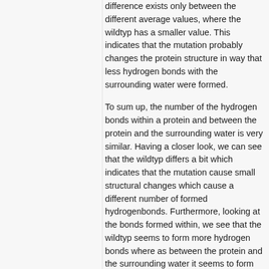difference exists only between the different average values, where the wildtyp has a smaller value. This indicates that the mutation probably changes the protein structure in way that less hydrogen bonds with the surrounding water were formed.
To sum up, the number of the hydrogen bonds within a protein and between the protein and the surrounding water is very similar. Having a closer look, we can see that the wildtyp differs a bit which indicates that the mutation cause small structural changes which cause a different number of formed hydrogenbonds. Furthermore, looking at the bonds formed within, we see that the wildtyp seems to form more hydrogen bonds where as between the protein and the surrounding water it seems to form less hydrogen bonds. Therefore, it could be possible that the mutated proteins form more bonds with the surrounding water instead of forming them within the protein.
Back to [top]. Back to [Tay-Sachs Disease].